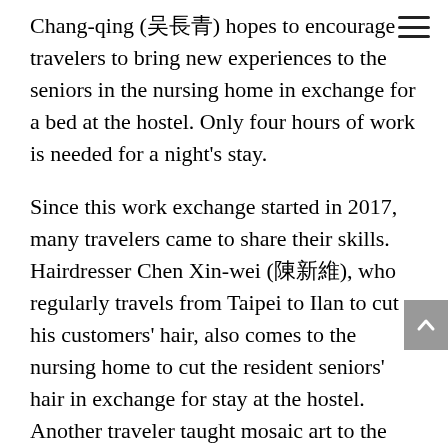Chang-qing (吳長青) hopes to encourage travelers to bring new experiences to the seniors in the nursing home in exchange for a bed at the hostel. Only four hours of work is needed for a night's stay.
Since this work exchange started in 2017, many travelers came to share their skills. Hairdresser Chen Xin-wei (陳新維), who regularly travels from Taipei to Ilan to cut his customers' hair, also comes to the nursing home to cut the resident seniors' hair in exchange for stay at the hostel. Another traveler taught mosaic art to the seniors. Wu has also launched a tricycle